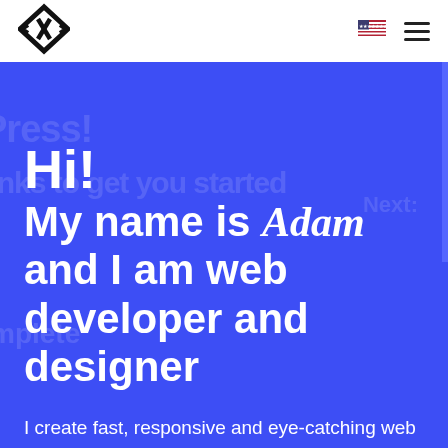[Figure (logo): Diamond/chevron shaped code bracket logo in black]
[Figure (illustration): US flag icon]
[Figure (illustration): Hamburger menu icon with three horizontal lines]
Hi!
My name is Adam
and I am web developer and designer
I create fast, responsive and eye-catching web solutions that use the implementation of the WordPress user interface.